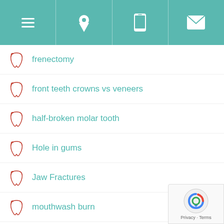[Figure (screenshot): Navigation bar with hamburger menu, location pin, phone, and email icons on teal background]
frenectomy
front teeth crowns vs veneers
half-broken molar tooth
Hole in gums
Jaw Fractures
mouthwash burn
Oral Cancer
Oral Pathology
Oral Surgery
Salty Taste in Mouth